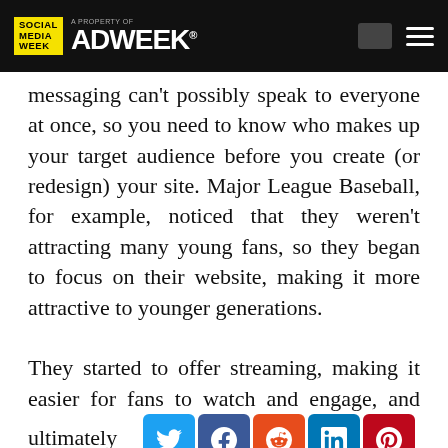Social Media Week — A Property of ADWEEK
messaging can't possibly speak to everyone at once, so you need to know who makes up your target audience before you create (or redesign) your site. Major League Baseball, for example, noticed that they weren't attracting many young fans, so they began to focus on their website, making it more attractive to younger generations.

They started to offer streaming, making it easier for fans to watch and engage, and ultimately became the second-most viewed sports site in 2015. Knowing and